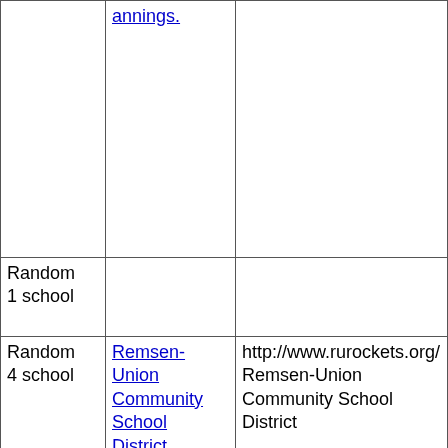|  | annings. |  |
| Random 1 school |  |  |
| Random 4 school | Remsen-Union Community School District | http://www.rurockets.org/ Remsen-Union Community School District |
|  |  |  |